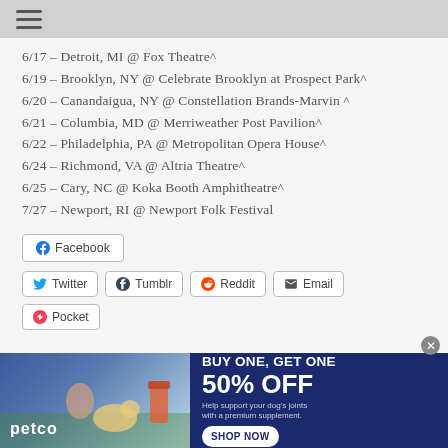6/17 – Detroit, MI @ Fox Theatre^
6/19 – Brooklyn, NY @ Celebrate Brooklyn at Prospect Park^
6/20 – Canandaigua, NY @ Constellation Brands-Marvin ^
6/21 – Columbia, MD @ Merriweather Post Pavilion^
6/22 – Philadelphia, PA @ Metropolitan Opera House^
6/24 – Richmond, VA @ Altria Theatre^
6/25 – Cary, NC @ Koka Booth Amphitheatre^
7/27 – Newport, RI @ Newport Folk Festival
[Figure (screenshot): Social share buttons: Facebook, Twitter, Tumblr, Reddit, Email, Pocket]
[Figure (infographic): Petco advertisement: BUY ONE, GET ONE 50% OFF - Help support your dog's joints with a premium supplement. SHOP NOW]